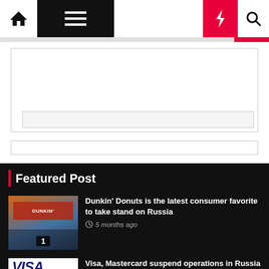Navigation bar with home, menu, moon, bolt, and search icons
[Figure (screenshot): Advertisement placeholder area with inner bar]
[Figure (screenshot): Secondary advertisement bar]
Featured Post
[Figure (photo): Dunkin Donuts storefront photo with badge number 1]
Dunkin' Donuts is the latest consumer favorite to take stand on Russia
5 months ago
[Figure (photo): VISA logo on white background]
Visa, Mastercard suspend operations in Russia over Ukraine invasion